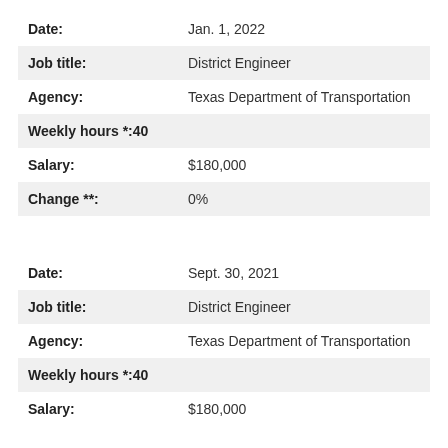| Field | Value |
| --- | --- |
| Date: | Jan. 1, 2022 |
| Job title: | District Engineer |
| Agency: | Texas Department of Transportation |
| Weekly hours *: | 40 |
| Salary: | $180,000 |
| Change **: | 0% |
| Field | Value |
| --- | --- |
| Date: | Sept. 30, 2021 |
| Job title: | District Engineer |
| Agency: | Texas Department of Transportation |
| Weekly hours *: | 40 |
| Salary: | $180,000 |